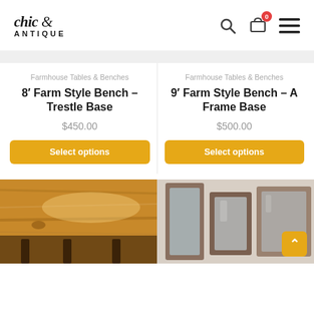[Figure (logo): Chic & Antique logo — italic serif 'chic &' above all-caps 'ANTIQUE']
[Figure (infographic): Header icons: search magnifier, shopping basket with red badge showing 0, hamburger menu]
Farmhouse Tables & Benches
8′ Farm Style Bench – Trestle Base
$450.00
Select options
Farmhouse Tables & Benches
9′ Farm Style Bench – A Frame Base
$500.00
Select options
[Figure (photo): Close-up photo of a wooden farmhouse table top with trestle-style metal legs underneath, warm golden tones]
[Figure (photo): Rustic wooden framed mirrors leaning against a wall, showing a room interior in background]